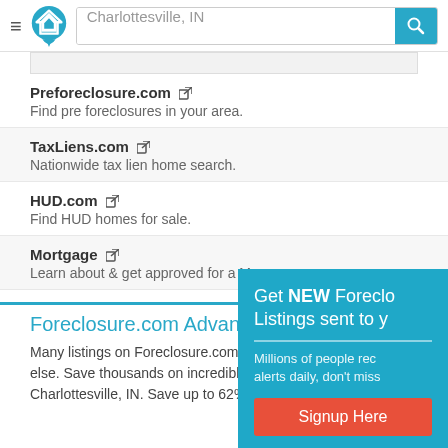[Figure (screenshot): Website header with hamburger menu, home icon logo, search bar showing 'Charlottesville, IN', and teal search button with magnifier icon]
Preforeclosure.com — Find pre foreclosures in your area.
TaxLiens.com — Nationwide tax lien home search.
HUD.com — Find HUD homes for sale.
Mortgage — Learn about & get approved for a Mo
[Figure (screenshot): Teal popup modal: Get NEW Foreclosure Listings sent to you. Millions of people receive alerts daily, don't miss. Signup Here button (red). No Thanks | Remind M]
Foreclosure.com Advantages
Many listings on Foreclosure.com are not found anywhere else. Save thousands on incredible foreclosure deals in Charlottesville, IN. Save up to 62% with deals in Charlottesville, IN.